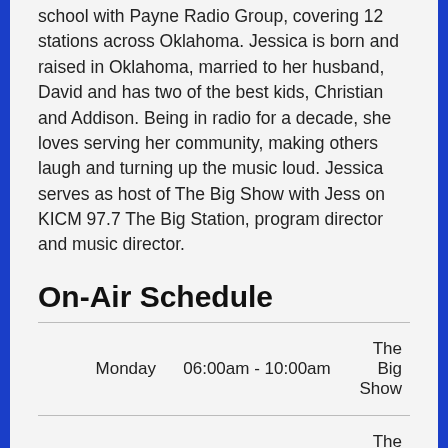school with Payne Radio Group, covering 12 stations across Oklahoma. Jessica is born and raised in Oklahoma, married to her husband, David and has two of the best kids, Christian and Addison. Being in radio for a decade, she loves serving her community, making others laugh and turning up the music loud. Jessica serves as host of The Big Show with Jess on KICM 97.7 The Big Station, program director and music director.
On-Air Schedule
| Day | Time | Show |
| --- | --- | --- |
| Monday | 06:00am - 10:00am | The Big Show |
| Tuesday | 06:00am - 10:00am | The Big Show |
| Wednesday | 06:00am - 10:00am | The Big Show |
| Thursday | 06:00 - 10:00 | The Big Sh... |